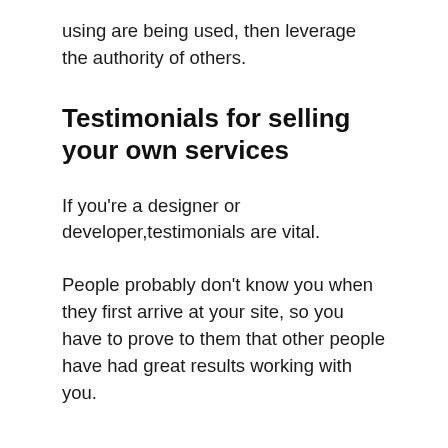using are being used, then leverage the authority of others.
Testimonials for selling your own services
If you're a designer or developer,testimonials are vital.
People probably don't know you when they first arrive at your site, so you have to prove to them that other people have had great results working with you.